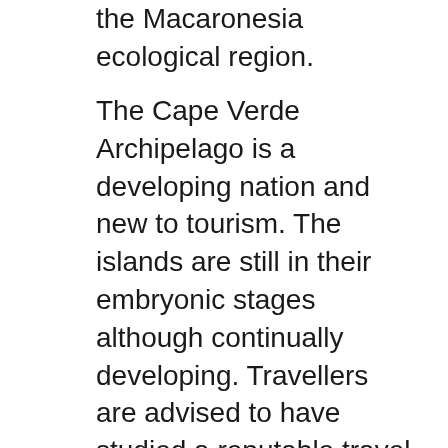the Macaronesia ecological region.
The Cape Verde Archipelago is a developing nation and new to tourism. The islands are still in their embryonic stages although continually developing. Travellers are advised to have studied a reputable travel guide before their holiday. The majority of our customers are experienced travellers. Transfers can be pre-arranged from each of the islands' airports. It is also relatively simple to London, Cape TownвЂ™s Hotel Verde and the Victoria & Alfred Waterfront Design, inclusive tourism and responsible tourism in marketing were key themes at the national Conference on Responsible Tourism in